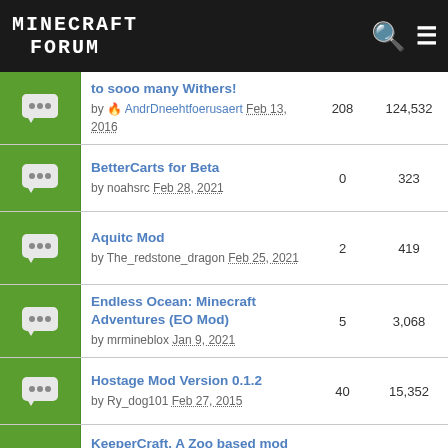MINECRAFT FORUM
to sooo many Withers! by AndrDneehtfoerusaert Feb 13, 2016 | 208 replies | 124,532 views
BetterCarts for Beta by noahsrc Feb 28, 2021 | 0 replies | 323 views
Aquitc Mod by The_redstone_dragon Feb 25, 2021 | 2 replies | 419 views
Endless Ocean: Minecraft Adventures (EO Mod) by mrmineblox Jan 9, 2021 | 5 replies | 3,068 views
Hostage Mod Version 0.1.2 by Ry_dog101 Feb 27, 2015 | 40 replies | 15,352 views
KeeperCraft. A Zoo based mod project for 1.12.2 server by Wizard1976 Feb 9, 2018 | 2 replies | 2,626 views
Demon mod for 1.16.4 by YerayIovazquez Feb 15, 2021 | 0 replies | 977 views
Minecraft BRTB 1.2.0 Snapshot